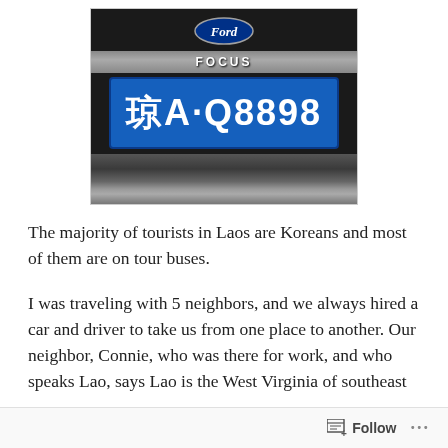[Figure (photo): Close-up photo of the rear of a black Ford Focus showing a Chinese license plate reading 琼A·Q8898 on a blue background, with the Ford logo and FOCUS lettering visible, and the bumper below.]
The majority of tourists in Laos are Koreans and most of them are on tour buses.
I was traveling with 5 neighbors, and we always hired a car and driver to take us from one place to another. Our neighbor, Connie, who was there for work, and who speaks Lao, says Lao is the West Virginia of southeast
Follow  ···